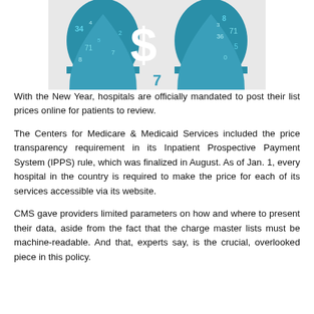[Figure (illustration): Two teal/blue silhouettes of human heads facing outward with numbers and a large dollar sign symbol floating between them, on a light gray background.]
With the New Year, hospitals are officially mandated to post their list prices online for patients to review.
The Centers for Medicare & Medicaid Services included the price transparency requirement in its Inpatient Prospective Payment System (IPPS) rule, which was finalized in August. As of Jan. 1, every hospital in the country is required to make the price for each of its services accessible via its website.
CMS gave providers limited parameters on how and where to present their data, aside from the fact that the charge master lists must be machine-readable. And that, experts say, is the crucial, overlooked piece in this policy.